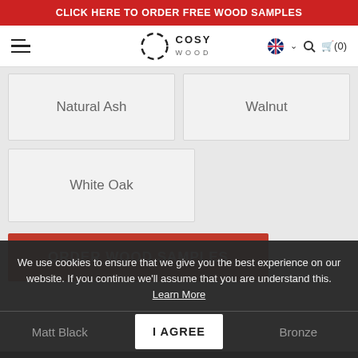CLICK HERE TO ORDER FREE WOOD SAMPLES
[Figure (logo): Cosy Wood logo with circular dashed icon and text COSY WOOD, navigation bar with hamburger menu, UK flag, search icon, and cart (0)]
Natural Ash
Walnut
White Oak
ORDER WOOD SAMPLES
We use cookies to ensure that we give you the best experience on our website. If you continue we'll assume that you are understand this. Learn More
Matt Black
Bronze
I AGREE